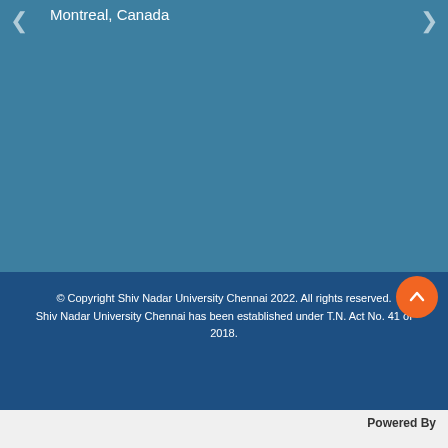Montreal, Canada
© Copyright Shiv Nadar University Chennai 2022. All rights reserved. Shiv Nadar University Chennai has been established under T.N. Act No. 41 of 2018.
Powered By